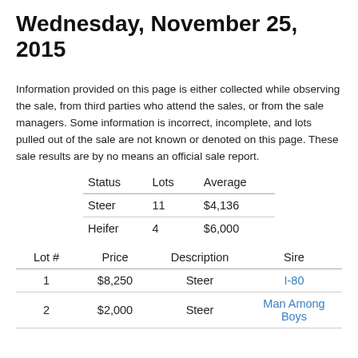Wednesday, November 25, 2015
Information provided on this page is either collected while observing the sale, from third parties who attend the sales, or from the sale managers.  Some information is incorrect, incomplete, and lots pulled out of the sale are not known or denoted on this page.  These sale results are by no means an official sale report.
| Status | Lots | Average |
| --- | --- | --- |
| Steer | 11 | $4,136 |
| Heifer | 4 | $6,000 |
| Lot # | Price | Description | Sire |
| --- | --- | --- | --- |
| 1 | $8,250 | Steer | I-80 |
| 2 | $2,000 | Steer | Man Among Boys |